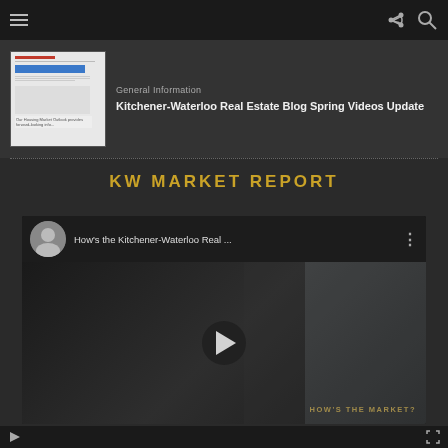Navigation bar with hamburger menu, share and search icons
[Figure (screenshot): Thumbnail of Housing Market Outlook document]
General Information
Kitchener-Waterloo Real Estate Blog Spring Videos Update
KW MARKET REPORT
[Figure (screenshot): Embedded YouTube video: How's the Kitchener-Waterloo Real ... with play button and HOW'S THE MARKET watermark overlay]
Video playback controls bar